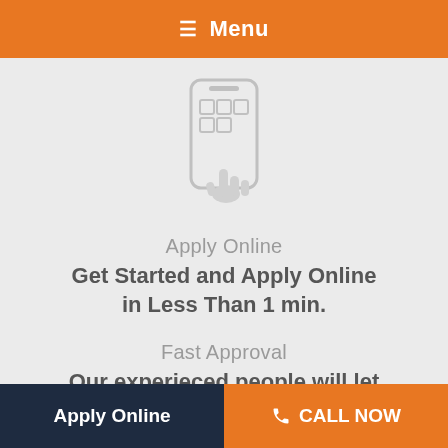≡ Menu
[Figure (illustration): Icon of a mobile phone with a finger tapping on the screen, outline style in light gray]
Apply Online
Get Started and Apply Online in Less Than 1 min.
Fast Approval
Our experieced people will let you know how we can help.
Apply Online   ☎ CALL NOW